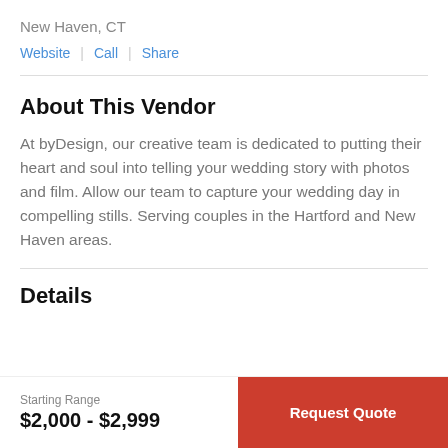New Haven, CT
Website  |  Call  |  Share
About This Vendor
At byDesign, our creative team is dedicated to putting their heart and soul into telling your wedding story with photos and film. Allow our team to capture your wedding day in compelling stills. Serving couples in the Hartford and New Haven areas.
Details
Starting Range
$2,000 - $2,999
Request Quote